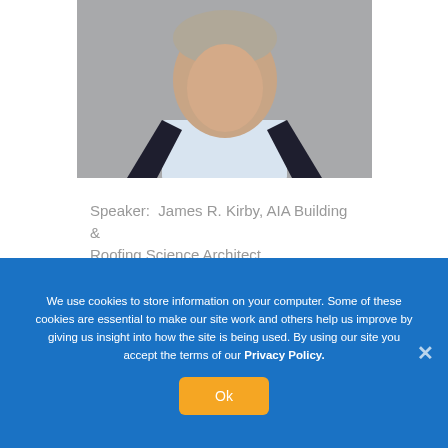[Figure (photo): Headshot of James R. Kirby, a man in a dark blazer and light blue shirt, photographed from chest up against a gray background]
Speaker:  James R. Kirby, AIA Building & Roofing Science Architect
We use cookies to store information on your computer. Some of these cookies are essential to make our site work and others help us improve by giving us insight into how the site is being used. By using our site you accept the terms of our Privacy Policy.